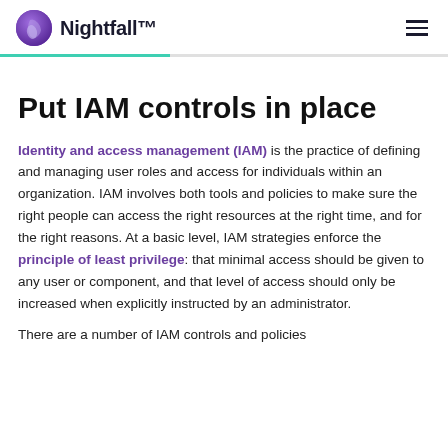Nightfall™
Put IAM controls in place
Identity and access management (IAM) is the practice of defining and managing user roles and access for individuals within an organization. IAM involves both tools and policies to make sure the right people can access the right resources at the right time, and for the right reasons. At a basic level, IAM strategies enforce the principle of least privilege: that minimal access should be given to any user or component, and that level of access should only be increased when explicitly instructed by an administrator.
There are a number of IAM controls and policies